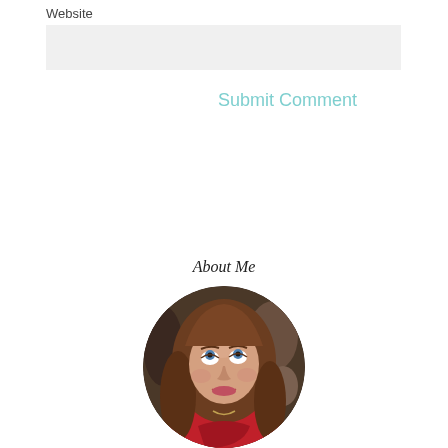Website
[Figure (other): Gray input field placeholder for website URL]
Submit Comment
About Me
[Figure (photo): Circular portrait photo of a young woman with long brown hair, wearing a red top, looking upward with a slight smile, in a bar/restaurant setting]